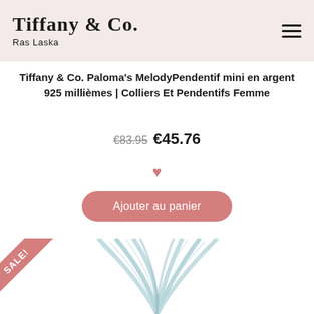TIFFANY & CO. Ras Laska
Tiffany & Co. Paloma's MelodyPendentif mini en argent 925 millièmes | Colliers Et Pendentifs Femme
€83.95 €45.76
[Figure (illustration): Pink heart icon (wishlist button)]
Ajouter au panier
[Figure (photo): Product photo of Tiffany & Co. silver mesh necklace shown from above, with a pink SALE! triangle badge in the top-left corner]